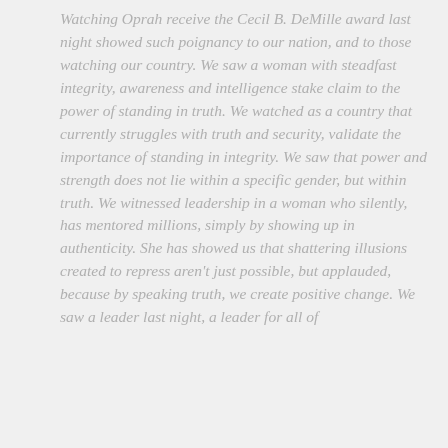Watching Oprah receive the Cecil B. DeMille award last night showed such poignancy to our nation, and to those watching our country. We saw a woman with steadfast integrity, awareness and intelligence stake claim to the power of standing in truth. We watched as a country that currently struggles with truth and security, validate the importance of standing in integrity. We saw that power and strength does not lie within a specific gender, but within truth. We witnessed leadership in a woman who silently, has mentored millions, simply by showing up in authenticity. She has showed us that shattering illusions created to repress aren't just possible, but applauded, because by speaking truth, we create positive change. We saw a leader last night, a leader for all of